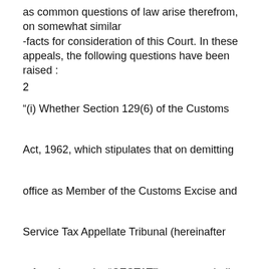as common questions of law arise therefrom, on somewhat similar
-facts for consideration of this Court. In these appeals, the following questions have been raised :
2
“(i) Whether Section 129(6) of the Customs Act, 1962, which stipulates that on demitting office as Member of the Customs Excise and Service Tax Appellate Tribunal (hereinafter referred to as the “CESTAT”) a person shall not be entitled to appear before the CESTAT, is ultra vires the Constitution of India?